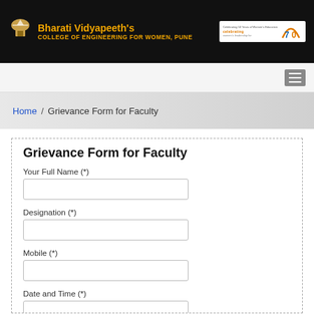[Figure (logo): Bharati Vidyapeeth's College of Engineering for Women, Pune logo and header with black background, orange title text, and celebrating 70 years badge]
Home / Grievance Form for Faculty
Grievance Form for Faculty
Your Full Name (*)
Designation (*)
Mobile (*)
Date and Time (*)